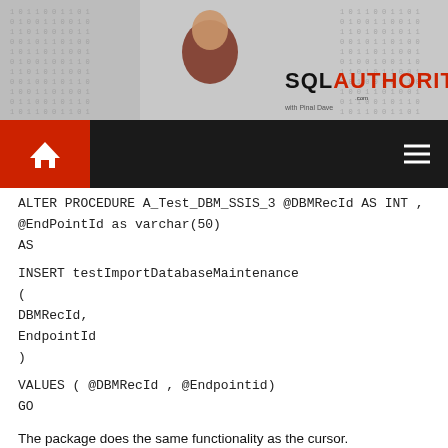[Figure (logo): SQLAuthority banner with person in red shirt and binary/matrix background]
SQL AUTHORITY .com
ALTER PROCEDURE A_Test_DBM_SSIS_3 @DBMRecId AS INT ,
@EndPointId as varchar(50)
AS

INSERT testImportDatabaseMaintenance
(
DBMRecId,
EndpointId
)

VALUES ( @DBMRecId , @Endpointid)
GO
The package does the same functionality as the cursor.
in a container I load the variable objIdbm with the recordset and
then execute a foreach ADO Enumerator against the Stored